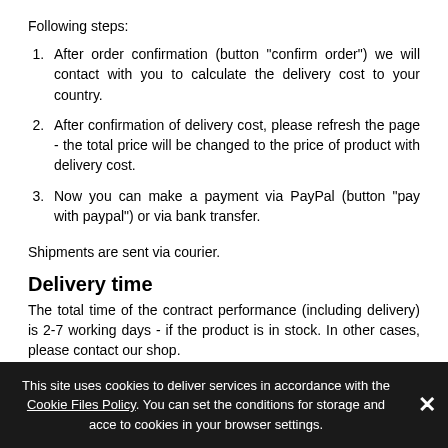Following steps:
After order confirmation (button "confirm order") we will contact with you to calculate the delivery cost to your country.
After confirmation of delivery cost, please refresh the page - the total price will be changed to the price of product with delivery cost.
Now you can make a payment via PayPal (button "pay with paypal") or via bank transfer.
Shipments are sent via courier.
Delivery time
The total time of the contract performance (including delivery) is 2-7 working days - if the product is in stock. In other cases, please contact our shop.
If you choose payment via transfer to a bank account, electronic
This site uses cookies to deliver services in accordance with the Cookie Files Policy. You can set the conditions for storage and access to cookies in your browser settings.